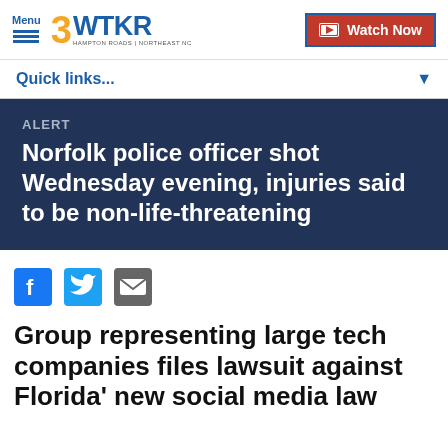Menu | 3WTKR Hampton Roads | Northeast NC | Watch Now
Quick links...
ALERT
Norfolk police officer shot Wednesday evening, injuries said to be non-life-threatening
[Figure (other): Social sharing icons: Facebook, Twitter, Email]
Group representing large tech companies files lawsuit against Florida' new social media law